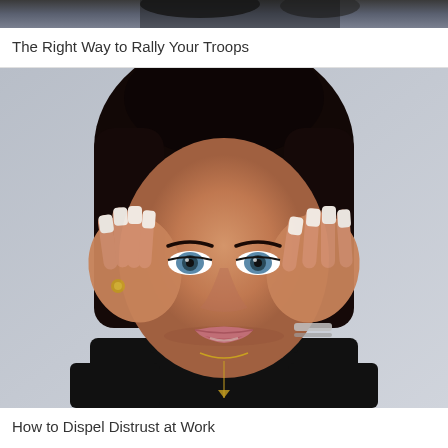[Figure (photo): Partial top image cropped at top of page, appears to be a dark/outdoor scene, partially visible]
The Right Way to Rally Your Troops
[Figure (photo): Woman with dark hair wearing a black turtleneck, holding her hands to her temples with long white nails, wearing a ring and bracelet, with blue eyes and a stressed/intense expression, looking directly at camera]
How to Dispel Distrust at Work